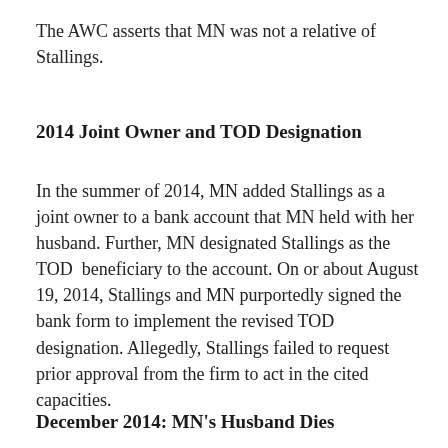The AWC asserts that MN was not a relative of Stallings.
2014 Joint Owner and TOD Designation
In the summer of 2014, MN added Stallings as a joint owner to a bank account that MN held with her husband. Further, MN designated Stallings as the TOD  beneficiary to the account. On or about August 19, 2014, Stallings and MN purportedly signed the bank form to implement the revised TOD designation. Allegedly, Stallings failed to request prior approval from the firm to act in the cited capacities.
December 2014: MN's Husband Dies